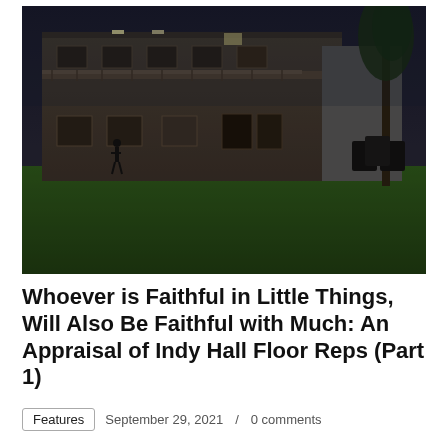[Figure (photo): Nighttime exterior photo of a two-story residential or institutional building with balconies and a green lawn in the foreground. A tree is visible on the right side.]
Whoever is Faithful in Little Things, Will Also Be Faithful with Much: An Appraisal of Indy Hall Floor Reps (Part 1)
Features  September 29, 2021 / 0 comments